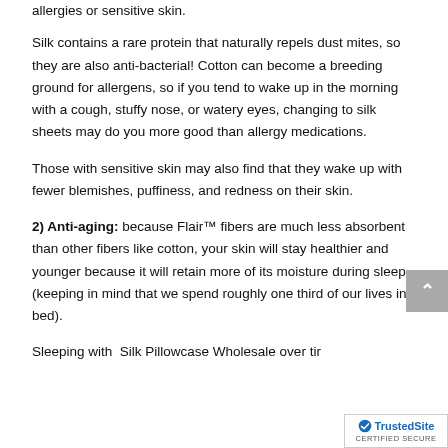allergies or sensitive skin.
Silk contains a rare protein that naturally repels dust mites, so they are also anti-bacterial! Cotton can become a breeding ground for allergens, so if you tend to wake up in the morning with a cough, stuffy nose, or watery eyes, changing to silk sheets may do you more good than allergy medications.
Those with sensitive skin may also find that they wake up with fewer blemishes, puffiness, and redness on their skin.
2) Anti-aging: because Flair™ fibers are much less absorbent than other fibers like cotton, your skin will stay healthier and younger because it will retain more of its moisture during sleep (keeping in mind that we spend roughly one third of our lives in bed).
Sleeping with Silk Pillowcase Wholesale over tir